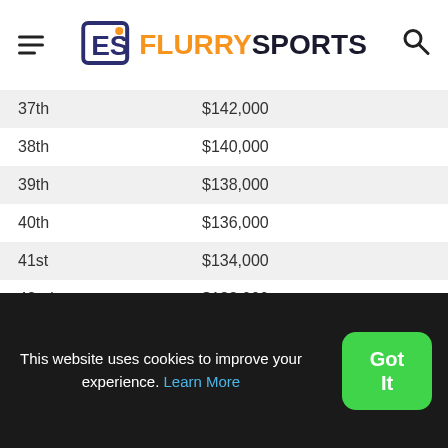Flurry Sports
| Place | Prize |
| --- | --- |
| 37th | $142,000 |
| 38th | $140,000 |
| 39th | $138,000 |
| 40th | $136,000 |
| 41st | $134,000 |
| 42nd | $132,000 |
| 43rd | $130,000 |
| 44th | $128,000 |
| 45th | $126,000 |
| 46th | $124,000 |
| 47th | $122,000 |
| 48th | $120,000 |
This website uses cookies to improve your experience. Learn More